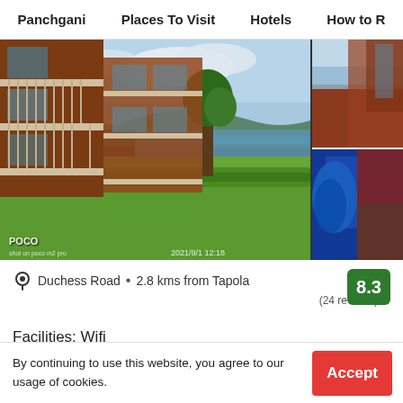Panchgani   Places To Visit   Hotels   How to R
[Figure (photo): Hotel building with multi-story balconies, green lawn, tree, lake in background, cloudy sky. POCO camera watermark bottom-left, date 2021/9/1 12:18 bottom-right. Side strip shows two additional hotel/room photos.]
Duchess Road • 2.8 kms from Tapola
8.3
(24 reviews)
Facilities: Wifi
By continuing to use this website, you agree to our usage of cookies.